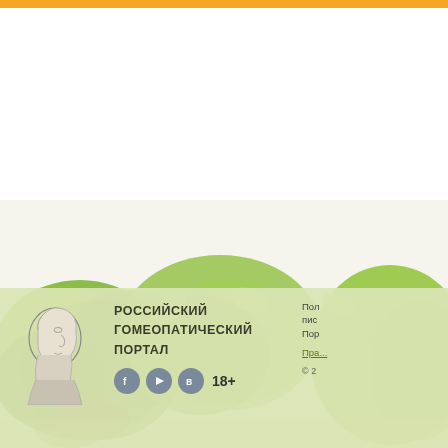[Figure (photo): Orange top navigation bar of a website]
[Figure (photo): Green herbs/plants (medicinal herbs) photographed on white background, filling lower portion of page]
[Figure (illustration): Portrait illustration of a classical figure (Hahnemann) in profile, black and white engraving style]
РОССИЙСКИЙ ГОМЕОПАТИЧЕСКИЙ ПОРТАЛ
Пол... пис... Пор...
Пра...
18+
© 2...